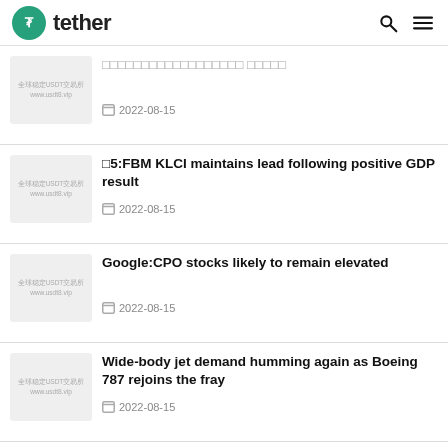tether
全球稳定USDT交易所 www.usdt8.vip — 2022-08-15
□5:FBM KLCI maintains lead following positive GDP result — 2022-08-15
Google:CPO stocks likely to remain elevated — 2022-08-15
Wide-body jet demand humming again as Boeing 787 rejoins the fray — 2022-08-15